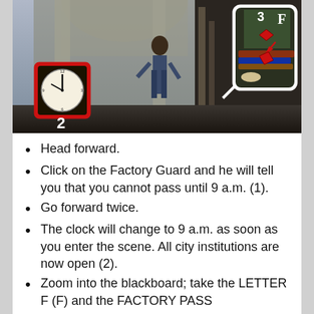[Figure (screenshot): Steampunk city scene with a character, a large clock face with red box labeled '2', and an inset panel showing a blackboard with stacked books, a rolled scroll, a red ticket/card labeled 'F', and item '3' marked. White arrow points to the inset panel.]
Head forward.
Click on the Factory Guard and he will tell you that you cannot pass until 9 a.m. (1).
Go forward twice.
The clock will change to 9 a.m. as soon as you enter the scene. All city institutions are now open (2).
Zoom into the blackboard; take the LETTER F (F) and the FACTORY PASS